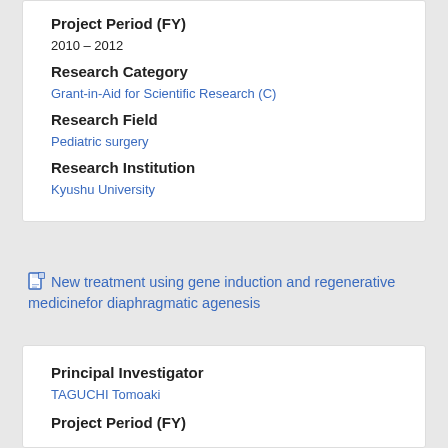Project Period (FY)
2010 – 2012
Research Category
Grant-in-Aid for Scientific Research (C)
Research Field
Pediatric surgery
Research Institution
Kyushu University
New treatment using gene induction and regenerative medicinefor diaphragmatic agenesis
Principal Investigator
TAGUCHI Tomoaki
Project Period (FY)